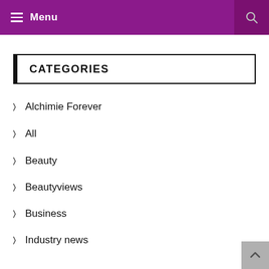Menu
CATEGORIES
Alchimie Forever
All
Beauty
Beautyviews
Business
Industry news
My life
Polla Sisters